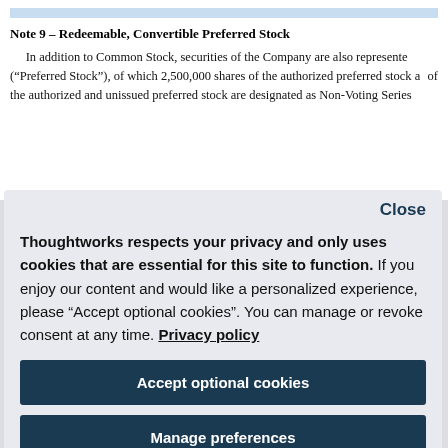Note 9 – Redeemable, Convertible Preferred Stock
In addition to Common Stock, securities of the Company are also represented by preferred stock ("Preferred Stock"), of which 2,500,000 shares of the authorized preferred stock are... of the authorized and unissued preferred stock are designated as Non-Voting Series...
Close
Thoughtworks respects your privacy and only uses cookies that are essential for this site to function. If you enjoy our content and would like a personalized experience, please “Accept optional cookies”. You can manage or revoke consent at any time. Privacy policy
Accept optional cookies
Manage preferences